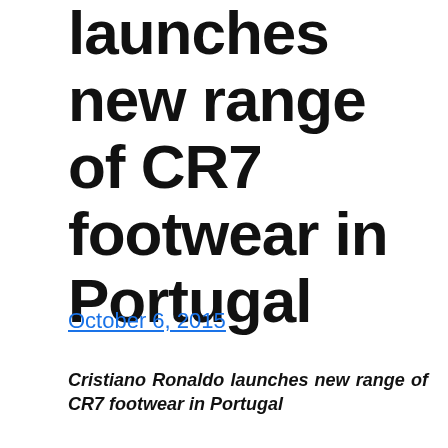launches new range of CR7 footwear in Portugal
October 6, 2015
Cristiano Ronaldo launches new range of CR7 footwear in Portugal
Cristiano Ronaldo progressive on Monday in Guimaraes, in northern Portugal, his new line of footwear “CR7” for the pre-winter point of interest of his stay in Braga, Portugal, where the website was some of the most important